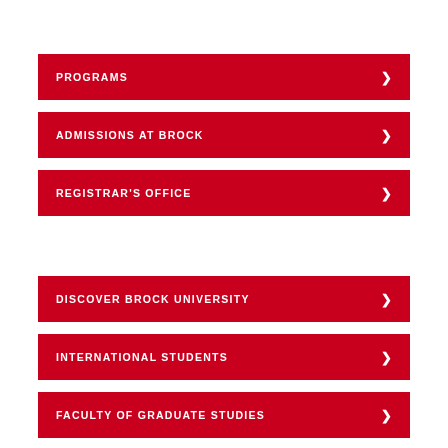PROGRAMS
ADMISSIONS AT BROCK
REGISTRAR'S OFFICE
DISCOVER BROCK UNIVERSITY
INTERNATIONAL STUDENTS
FACULTY OF GRADUATE STUDIES